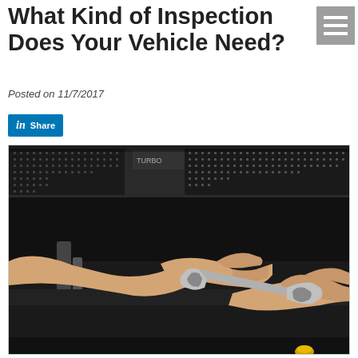What Kind of Inspection Does Your Vehicle Need?
Posted on 11/7/2017
[Figure (photo): Close-up photo of two hands exchanging/holding a wrench under an open car hood, with engine components and ventilation grille visible in the background.]